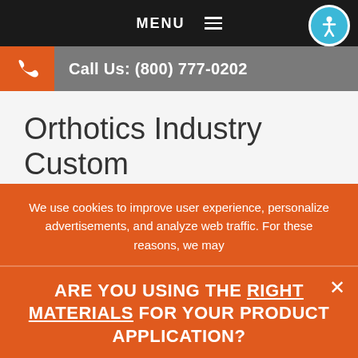MENU
Call Us: (800) 777-0202
Orthotics Industry Custom
We use cookies to improve user experience, personalize advertisements, and analyze web traffic. For these reasons, we may
ARE YOU USING THE RIGHT MATERIALS FOR YOUR PRODUCT APPLICATION?
ASK US!